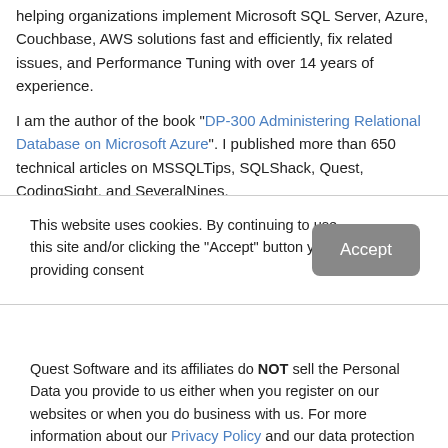helping organizations implement Microsoft SQL Server, Azure, Couchbase, AWS solutions fast and efficiently, fix related issues, and Performance Tuning with over 14 years of experience.
I am the author of the book "DP-300 Administering Relational Database on Microsoft Azure". I published more than 650 technical articles on MSSQLTips, SQLShack, Quest, CodingSight, and SeveralNines.
This website uses cookies. By continuing to use this site and/or clicking the "Accept" button you are providing consent
Quest Software and its affiliates do NOT sell the Personal Data you provide to us either when you register on our websites or when you do business with us. For more information about our Privacy Policy and our data protection efforts, please visit GDPR-HQ